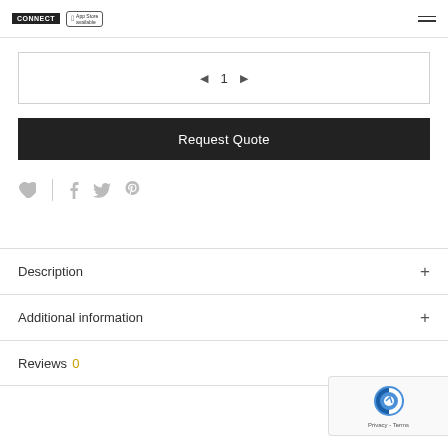Logo / App Store badge / Hamburger menu
[Figure (screenshot): Pagination control with left arrow, page number 1, and right arrow]
Request Quote
[Figure (infographic): Social sharing icons: heart (favorite), divider, Facebook, Twitter, Pinterest]
Description +
Additional information +
Reviews 0
[Figure (other): Google reCAPTCHA badge with Privacy and Terms links]